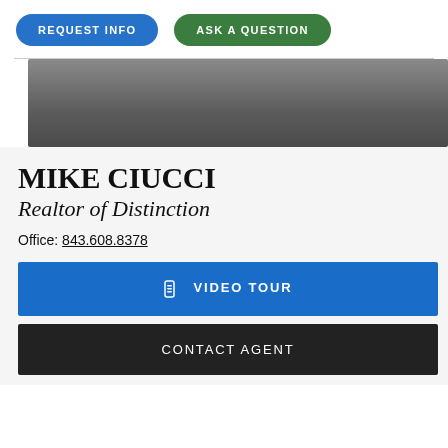[Figure (other): Blue pill-shaped button labeled REQUEST INFO and green pill-shaped button labeled ASK A QUESTION]
[Figure (photo): Gray gradient hero/banner image, dark gray with lighter top]
MIKE CIUCCI
Realtor of Distinction
Office: 843.608.8378
[Figure (other): Blue button with phone icon labeled VIDEO TOUR]
[Figure (other): Black button labeled CONTACT AGENT]